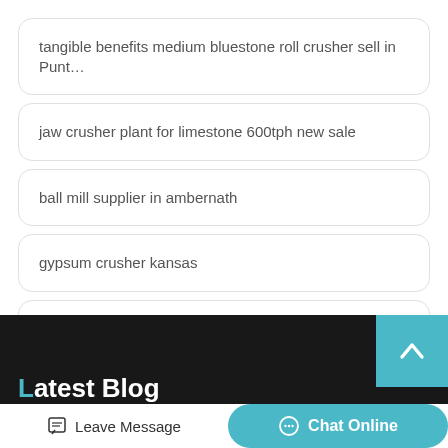tangible benefits medium bluestone roll crusher sell in Punt…
jaw crusher plant for limestone 600tph new sale
ball mill supplier in ambernath
gypsum crusher kansas
wear parts of ball mill theory
Latest Blog
Leave Message
Chat Online